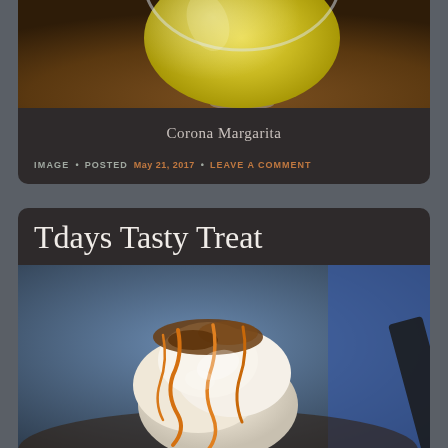[Figure (photo): Top portion of a yellow/green margarita drink in a large round glass on a wooden table, cropped at top]
Corona Margarita
IMAGE • POSTED MAY 21, 2017 • LEAVE A COMMENT
Tdays Tasty Treat
[Figure (photo): Ice cream sundae topped with caramel drizzle and nuts, close-up photo]